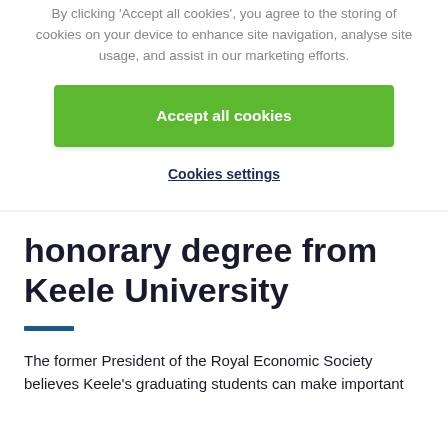By clicking 'Accept all cookies', you agree to the storing of cookies on your device to enhance site navigation, analyse site usage, and assist in our marketing efforts.
Accept all cookies
Cookies settings
honorary degree from Keele University
The former President of the Royal Economic Society believes Keele's graduating students can make important